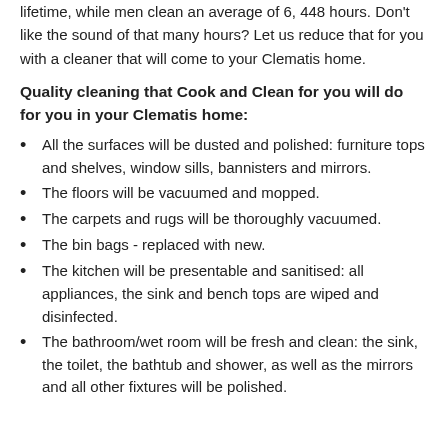lifetime, while men clean an average of 6,448 hours. Don't like the sound of that many hours? Let us reduce that for you with a cleaner that will come to your Clematis home.
Quality cleaning that Cook and Clean for you will do for you in your Clematis home:
All the surfaces will be dusted and polished: furniture tops and shelves, window sills, bannisters and mirrors.
The floors will be vacuumed and mopped.
The carpets and rugs will be thoroughly vacuumed.
The bin bags - replaced with new.
The kitchen will be presentable and sanitised: all appliances, the sink and bench tops are wiped and disinfected.
The bathroom/wet room will be fresh and clean: the sink, the toilet, the bathtub and shower, as well as the mirrors and all other fixtures will be polished.